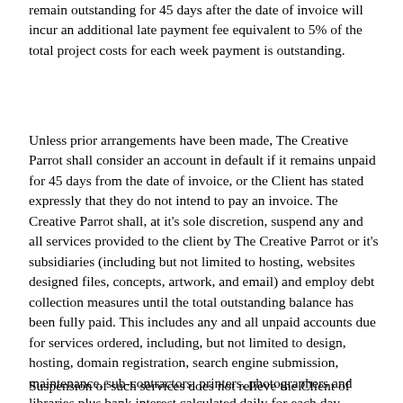remain outstanding for 45 days after the date of invoice will incur an additional late payment fee equivalent to 5% of the total project costs for each week payment is outstanding.
Unless prior arrangements have been made, The Creative Parrot shall consider an account in default if it remains unpaid for 45 days from the date of invoice, or the Client has stated expressly that they do not intend to pay an invoice. The Creative Parrot shall, at it's sole discretion, suspend any and all services provided to the client by The Creative Parrot or it's subsidiaries (including but not limited to hosting, websites designed files, concepts, artwork, and email) and employ debt collection measures until the total outstanding balance has been fully paid. This includes any and all unpaid accounts due for services ordered, including, but not limited to design, hosting, domain registration, search engine submission, maintenance, sub-contractors, printers, photographers and libraries plus bank interest calculated daily for each day payment is overdue.
Suspension of such services does not relieve the Client of